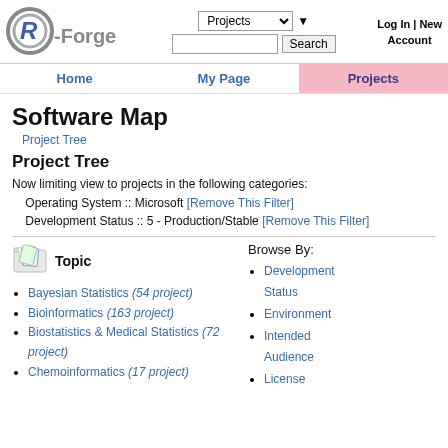R-Forge — Projects | Search | Log In | New Account
Software Map
Project Tree
Project Tree
Now limiting view to projects in the following categories:
Operating System :: Microsoft [Remove This Filter]
Development Status :: 5 - Production/Stable [Remove This Filter]
[Figure (illustration): Folder icon with colored papers]
Topic
Bayesian Statistics (54 project)
Bioinformatics (163 project)
Biostatistics & Medical Statistics (72 project)
Chemoinformatics (17 project)
Browse By:
Development Status
Environment
Intended Audience
License